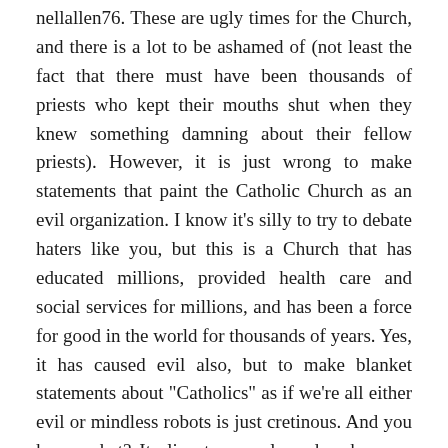nellallen76. These are ugly times for the Church, and there is a lot to be ashamed of (not least the fact that there must have been thousands of priests who kept their mouths shut when they knew something damning about their fellow priests). However, it is just wrong to make statements that paint the Catholic Church as an evil organization. I know it's silly to try to debate haters like you, but this is a Church that has educated millions, provided health care and social services for millions, and has been a force for good in the world for thousands of years. Yes, it has caused evil also, but to make blanket statements about "Catholics" as if we're all either evil or mindless robots is just cretinous. And you know what? It alienates people and makes you lose all credibility. If you sincerely care about the victims you should not be making such ridiculous statements, because people will label you a kook and stop listening to you. I know that you won't listen to a word I said, and you'll post a reply about how I'm